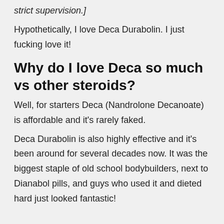strict supervision.]
Hypothetically, I love Deca Durabolin. I just fucking love it!
Why do I love Deca so much vs other steroids?
Well, for starters Deca (Nandrolone Decanoate) is affordable and it's rarely faked.
Deca Durabolin is also highly effective and it's been around for several decades now. It was the biggest staple of old school bodybuilders, next to Dianabol pills, and guys who used it and dieted hard just looked fantastic!